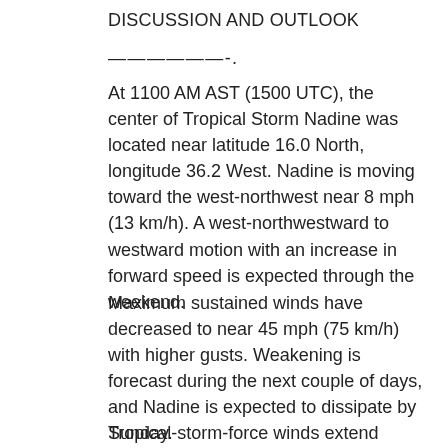DISCUSSION AND OUTLOOK
——————-.
At 1100 AM AST (1500 UTC), the center of Tropical Storm Nadine was located near latitude 16.0 North, longitude 36.2 West. Nadine is moving toward the west-northwest near 8 mph (13 km/h). A west-northwestward to westward motion with an increase in forward speed is expected through the weekend.
Maximum sustained winds have decreased to near 45 mph (75 km/h) with higher gusts. Weakening is forecast during the next couple of days, and Nadine is expected to dissipate by Sunday.
Tropical-storm-force winds extend outward up to 70